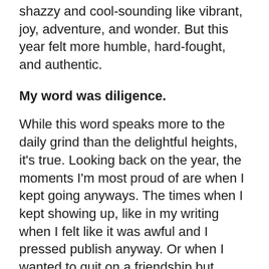shazzy and cool-sounding like vibrant, joy, adventure, and wonder. But this year felt more humble, hard-fought, and authentic.
My word was diligence.
While this word speaks more to the daily grind than the delightful heights, it's true. Looking back on the year, the moments I'm most proud of are when I kept going anyways. The times when I kept showing up, like in my writing when I felt like it was awful and I pressed publish anyway. Or when I wanted to quit on a friendship but prayed for blessings and wisdom over that person instead. The days when I was